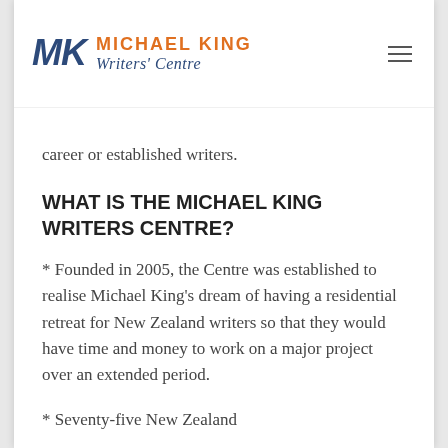Michael King Writers' Centre
career or established writers.
WHAT IS THE MICHAEL KING WRITERS CENTRE?
* Founded in 2005, the Centre was established to realise Michael King's dream of having a residential retreat for New Zealand writers so that they would have time and money to work on a major project over an extended period.
* Seventy-five New Zealand writers have been...